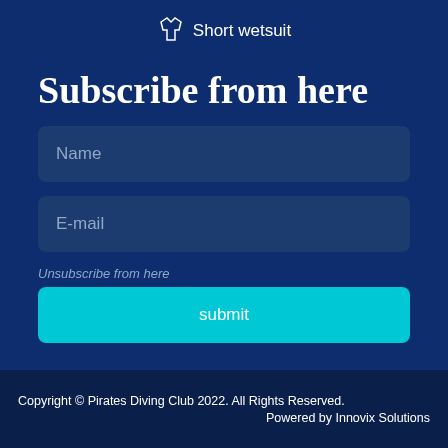Short wetsuit
Subscribe from here
Name
E-mail
Unsubscribe from here
submit
Copyright © Pirates Diving Club 2022. All Rights Reserved.
Powered by Innovix Solutions